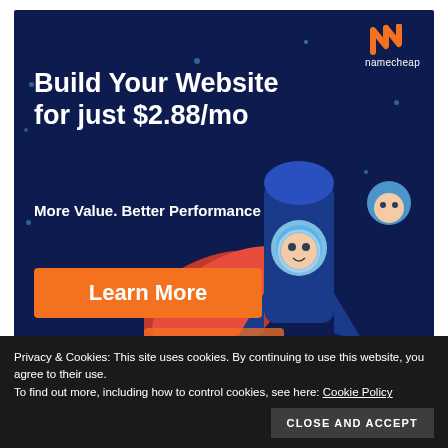[Figure (illustration): Namecheap advertisement banner with dark navy background. Top-right shows the Namecheap logo (orange N mark with 'namecheap' text). Large white bold text reads 'Build Your Website for just $2.88/mo'. Below that 'More Value. Better Performance'. An orange 'Learn More' button. Right side shows an illustrated rocket with astronaut characters.]
Privacy & Cookies: This site uses cookies. By continuing to use this website, you agree to their use.
To find out more, including how to control cookies, see here: Cookie Policy
CLOSE AND ACCEPT